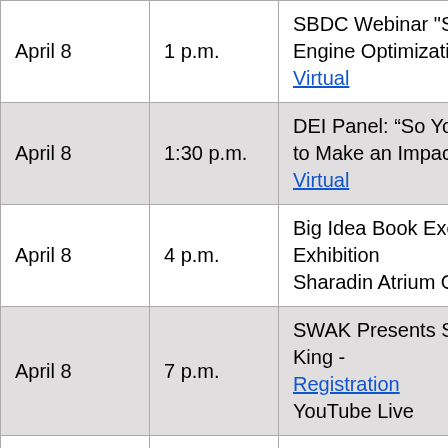| Date | Time | Event |
| --- | --- | --- |
| April 8 | 1 p.m. | SBDC Webinar "Search Engine Optimization"
Virtual |
| April 8 | 1:30 p.m. | DEI Panel: “So You Want to Make an Impact”
Virtual |
| April 8 | 4 p.m. | Big Idea Book Exchange Exhibition
Sharadin Atrium Gallery |
| April 8 | 7 p.m. | SWAK Presents Shaun King -
Registration
YouTube Live |
| April 8 |  | Purr Prehany Ed D... |